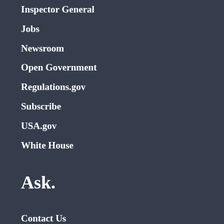Inspector General
Jobs
Newsroom
Open Government
Regulations.gov
Subscribe
USA.gov
White House
Ask.
Contact Us
Hotlines